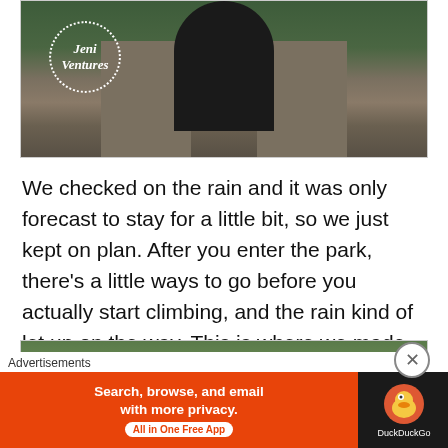[Figure (photo): Stone arch gate entrance to a park, lush green trees visible, with a circular 'Jeni Ventures' logo watermark in the top-left corner]
We checked on the rain and it was only forecast to stay for a little bit, so we just kept on plan. After you enter the park, there's a little ways to go before you actually start climbing, and the rain kind of let up on the way. This is where we made our next mistake.
[Figure (photo): Partial view of trees and sky, bottom portion cut off]
Advertisements
[Figure (screenshot): DuckDuckGo advertisement banner: 'Search, browse, and email with more privacy. All in One Free App' with DuckDuckGo duck logo on dark background]